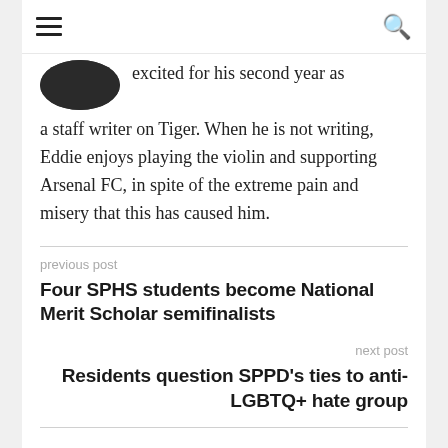≡  🔍
[Figure (photo): Partial circular profile photo of a person, cropped at the bottom of the header area]
excited for his second year as a staff writer on Tiger. When he is not writing, Eddie enjoys playing the violin and supporting Arsenal FC, in spite of the extreme pain and misery that this has caused him.
previous post
Four SPHS students become National Merit Scholar semifinalists
next post
Residents question SPPD's ties to anti-LGBTQ+ hate group